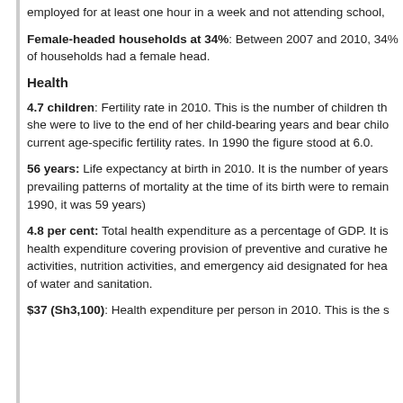employed for at least one hour in a week and not attending school,
Female-headed households at 34%: Between 2007 and 2010, 34% of households had a female head.
Health
4.7 children: Fertility rate in 2010. This is the number of children that a woman would have if she were to live to the end of her child-bearing years and bear children according to current age-specific fertility rates. In 1990 the figure stood at 6.0.
56 years: Life expectancy at birth in 2010. It is the number of years a newborn would live if prevailing patterns of mortality at the time of its birth were to remain constant. (In 1990, it was 59 years)
4.8 per cent: Total health expenditure as a percentage of GDP. It is the sum of public and private health expenditure covering provision of preventive and curative health services, family planning activities, nutrition activities, and emergency aid designated for health but does not include provision of water and sanitation.
$37 (Sh3,100): Health expenditure per person in 2010. This is the s